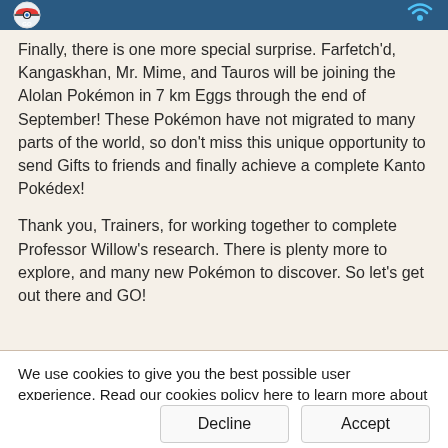Pokémon GO header with logos
Finally, there is one more special surprise. Farfetch'd, Kangaskhan, Mr. Mime, and Tauros will be joining the Alolan Pokémon in 7 km Eggs through the end of September! These Pokémon have not migrated to many parts of the world, so don't miss this unique opportunity to send Gifts to friends and finally achieve a complete Kanto Pokédex!
Thank you, Trainers, for working together to complete Professor Willow's research. There is plenty more to explore, and many new Pokémon to discover. So let's get out there and GO!
We use cookies to give you the best possible user experience. Read our cookies policy here to learn more about our use of cookies, your choices, and how to change your browser settings.